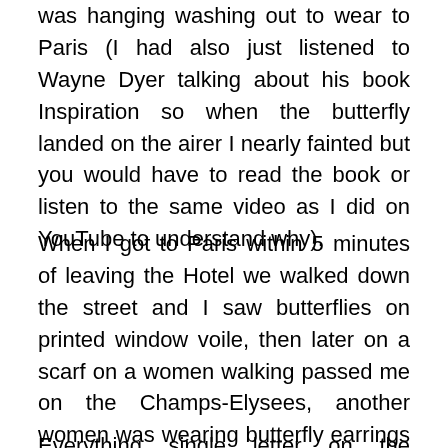was hanging washing out to wear to Paris (I had also just listened to Wayne Dyer talking about his book Inspiration so when the butterfly landed on the airer I nearly fainted but you would have to read the book or listen to the same video as I did on YouTube to understand why).
When I got to Paris within 5 minutes of leaving the Hotel we walked down the street and I saw butterflies on printed window voile, then later on a scarf on a women walking passed me on the Champs-Elysees, another women was wearing butterfly earrings sat next to me in a restaurant so now seeing my initials is not a surprise but today the Universe excelled itself.
Everything single letter on the registration plate